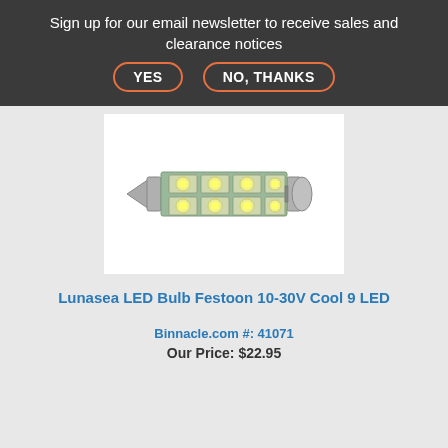Sign up for our email newsletter to receive sales and clearance notices YES NO, THANKS
[Figure (photo): LED festoon bulb with 9 LEDs arranged in a grid on a rectangular circuit board with pointed metal end caps]
Lunasea LED Bulb Festoon 10-30V Cool 9 LED
Binnacle.com #: 41071
Our Price: $22.95